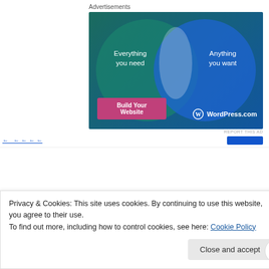Advertisements
[Figure (illustration): WordPress.com advertisement with two overlapping circles (Venn diagram style). Left circle on teal background says 'Everything you need', right circle on blue background says 'Anything you want'. Pink button reads 'Build Your Website' and WordPress.com logo is shown.]
REPORT THIS AD
Privacy & Cookies: This site uses cookies. By continuing to use this website, you agree to their use.
To find out more, including how to control cookies, see here: Cookie Policy
Close and accept